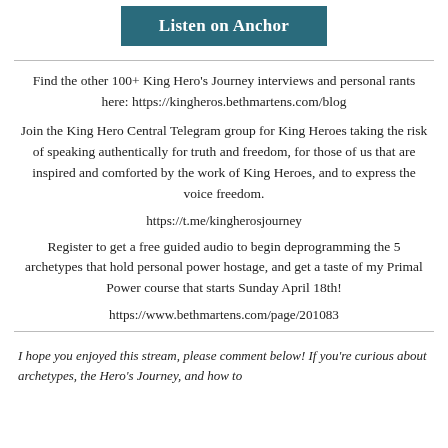[Figure (other): Teal/dark green button labeled 'Listen on Anchor']
Find the other 100+ King Hero's Journey interviews and personal rants here: https://kingheros.bethmartens.com/blog
Join the King Hero Central Telegram group for King Heroes taking the risk of speaking authentically for truth and freedom, for those of us that are inspired and comforted by the work of King Heroes, and to express the voice freedom.
https://t.me/kingherosjourney
Register to get a free guided audio to begin deprogramming the 5 archetypes that hold personal power hostage, and get a taste of my Primal Power course that starts Sunday April 18th!
https://www.bethmartens.com/page/201083
I hope you enjoyed this stream, please comment below! If you're curious about archetypes, the Hero's Journey, and how to